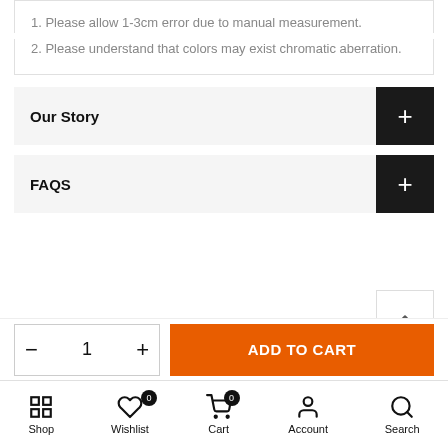1. Please allow 1-3cm error due to manual measurement.
2. Please understand that colors may exist chromatic aberration.
Our Story
FAQS
#1
ADD TO CART
Shop  Wishlist  Cart  Account  Search